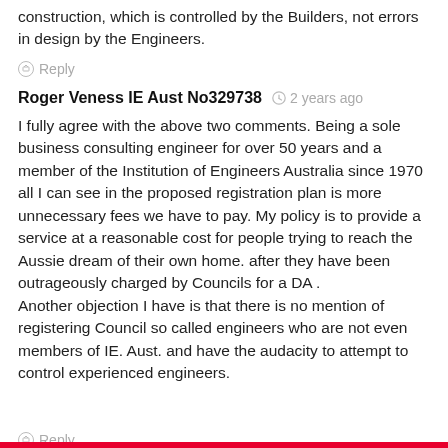construction, which is controlled by the Builders, not errors in design by the Engineers.
Reply
Roger Veness IE Aust No329738  2 years ago
I fully agree with the above two comments. Being a sole business consulting engineer for over 50 years and a member of the Institution of Engineers Australia since 1970 all I can see in the proposed registration plan is more unnecessary fees we have to pay. My policy is to provide a service at a reasonable cost for people trying to reach the Aussie dream of their own home. after they have been outrageously charged by Councils for a DA . Another objection I have is that there is no mention of registering Council so called engineers who are not even members of IE. Aust. and have the audacity to attempt to control experienced engineers.
Reply